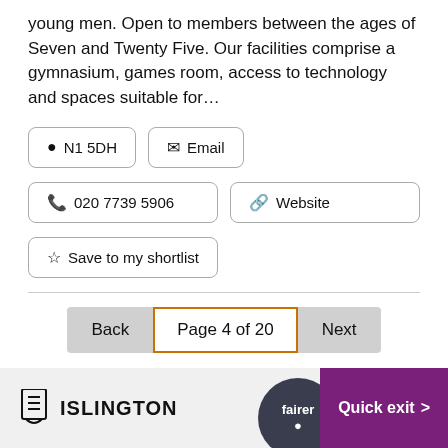young men. Open to members between the ages of Seven and Twenty Five. Our facilities comprise a gymnasium, games room, access to technology and spaces suitable for…
📍 N1 5DH
✉ Email
📞 020 7739 5906
🔗 Website
☆ Save to my shortlist
Back | Page 4 of 20 | Next
ISLINGTON | fairer | Quick exit >